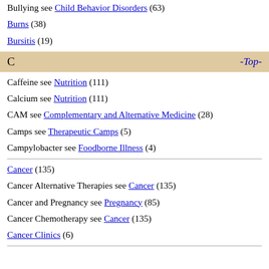Bullying see Child Behavior Disorders (63)
Burns (38)
Bursitis (19)
C  -Top-
Caffeine see Nutrition (111)
Calcium see Nutrition (111)
CAM see Complementary and Alternative Medicine (28)
Camps see Therapeutic Camps (5)
Campylobacter see Foodborne Illness (4)
Cancer (135)
Cancer Alternative Therapies see Cancer (135)
Cancer and Pregnancy see Pregnancy (85)
Cancer Chemotherapy see Cancer (135)
Cancer Clinics (6)